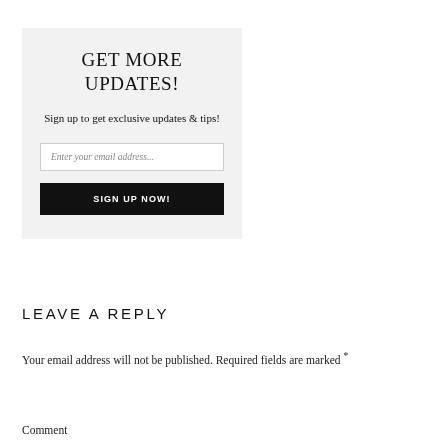GET MORE UPDATES!
Sign up to get exclusive updates & tips!
[Figure (other): Email input field with placeholder 'Enter your email address...']
[Figure (other): Black button with text 'SIGN UP NOW!']
LEAVE A REPLY
Your email address will not be published. Required fields are marked *
Comment